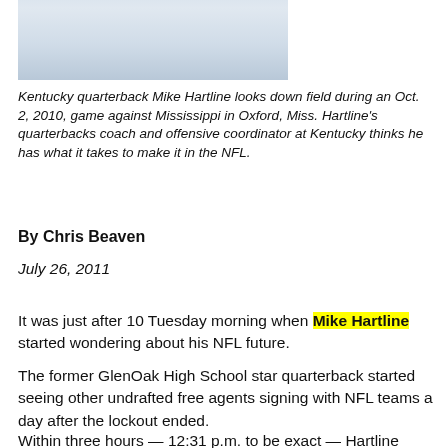[Figure (photo): Photo of Kentucky quarterback Mike Hartline looking down field, cropped at the top of the page]
Kentucky quarterback Mike Hartline looks down field during an Oct. 2, 2010, game against Mississippi in Oxford, Miss. Hartline's quarterbacks coach and offensive coordinator at Kentucky thinks he has what it takes to make it in the NFL.
By Chris Beaven
July 26, 2011
It was just after 10 Tuesday morning when Mike Hartline started wondering about his NFL future.
The former GlenOak High School star quarterback started seeing other undrafted free agents signing with NFL teams a day after the lockout ended.
Within three hours — 12:31 p.m. to be exact — Hartline couldn't believe his good fortune. He was going to sign with